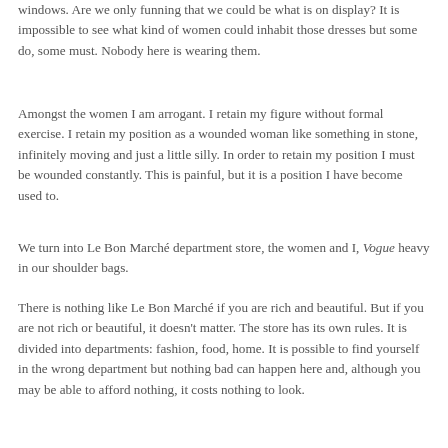windows. Are we only funning that we could be what is on display? It is impossible to see what kind of women could inhabit those dresses but some do, some must. Nobody here is wearing them.
Amongst the women I am arrogant. I retain my figure without formal exercise. I retain my position as a wounded woman like something in stone, infinitely moving and just a little silly. In order to retain my position I must be wounded constantly. This is painful, but it is a position I have become used to.
We turn into Le Bon Marché department store, the women and I, Vogue heavy in our shoulder bags.
There is nothing like Le Bon Marché if you are rich and beautiful. But if you are not rich or beautiful, it doesn't matter. The store has its own rules. It is divided into departments: fashion, food, home. It is possible to find yourself in the wrong department but nothing bad can happen here and, although you may be able to afford nothing, it costs nothing to look.